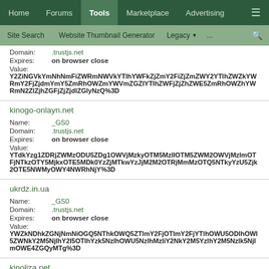Home  Forums  Tools  Marketplace  Advertising  ≡
Site Search  Website Thumbnail Generator  Legacy  ...  🔍
Domain: .trustjs.net
Expires: on browser close
Value: Y2ZiNGVkYmNhNmFiZWRmNWVkYTlhYWFkZjZmY2FiZjZmZWY2YTlhZWZkYWRmY2FjZjdmYmY5ZmRhOWZmYWVmZGZlYTlhZWFjZjZhZWE5ZmRhOWZhYWRmN2ZlZjhZGFjZjZjdlZGlyNzQ%3D
kinogo-onlayn.net
Name: _GS0
Domain: .trustjs.net
Expires: on browser close
Value: YTdkYzg1ZDRjZWMzODU5ZDg1OWVjMzkyOTM5MzlIOTM5ZWM2OWVjMzlmOTFjNTkzOTY5MjkxOTE5MDk0YzZjMTkwYzJjM2M2OTRjMmMzOTQ5NTkyYzU5Zjk2OTE5NWMyOWY4NWRhNjY%3D
ukrdz.in.ua
Name: _GS0
Domain: .trustjs.net
Expires: on browser close
Value: YWZkNDhkZGNjNmNiOGQ5NThkOWQ5ZTlmY2FjOTlmY2FjYTlhOWU5ODlhOWI5ZWNkY2M5NjlhY2I5OTlhYzk5NzlhOWU5NzlhMzliY2NkY2M5YzlhY2M5NzliY2lIY2E5ODllYzljYzlhY2M5Nzlk5NjlmOWE4ZGQyMTg%3D
kinoliza.net